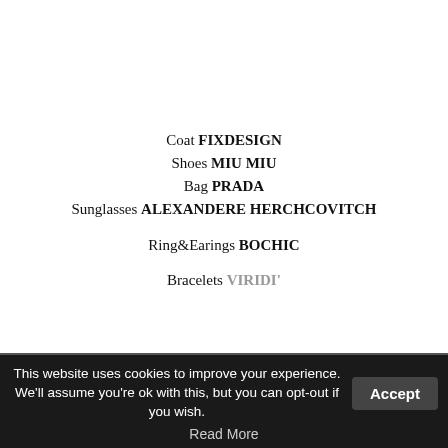Coat FIXDESIGN
Shoes MIU MIU
Bag PRADA
Sunglasses ALEXANDERE HERCHCOVITCH

Ring&Earings BOCHIC

Bracelets VIRIDI'
This website uses cookies to improve your experience. We'll assume you're ok with this, but you can opt-out if you wish.
Read More